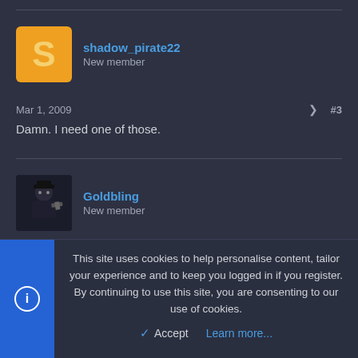shadow_pirate22
New member
Mar 1, 2009
#3
Damn. I need one of those.
Goldbling
New member
Mar 1, 2009
#5
This site uses cookies to help personalise content, tailor your experience and to keep you logged in if you register.
By continuing to use this site, you are consenting to our use of cookies.
Accept
Learn more...